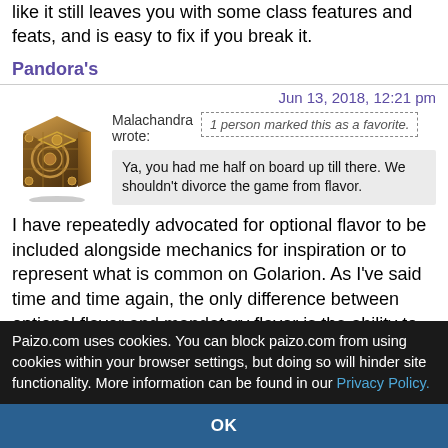like it still leaves you with some class features and feats, and is easy to fix if you break it.
Pandora's
Jun 13, 2018, 12:21 pm
[Figure (illustration): Avatar image of an ornate golden/brown cube with decorative patterns]
Malachandra wrote:
1 person marked this as a favorite.
Ya, you had me half on board up till there. We shouldn't divorce the game from flavor.
I have repeatedly advocated for optional flavor to be included alongside mechanics for inspiration or to represent what is common on Golarion. As I've said time and time again, the only difference between optional flavor and mandatory flavor is the ability to push it on someone who doesn't like that fl…
Paizo.com uses cookies. You can block paizo.com from using cookies within your browser settings, but doing so will hinder site functionality. More information can be found in our Privacy Policy.
OK